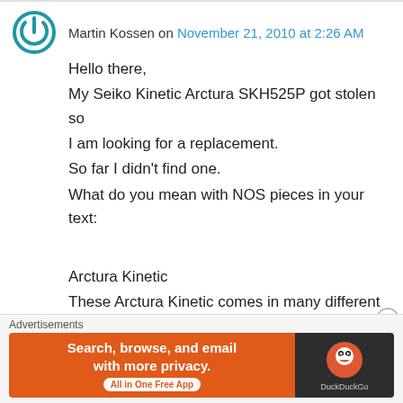Martin Kossen on November 21, 2010 at 2:26 AM
Hello there,
My Seiko Kinetic Arctura SKH525P got stolen so I am looking for a replacement.
So far I didn't find one.
What do you mean with NOS pieces in your text:

Arctura Kinetic
These Arctura Kinetic comes in many different dial colours. Men's version were powered by 5M42 and ladies version were powered by 3M22.
Advertisements
[Figure (screenshot): DuckDuckGo advertisement banner: orange background with text 'Search, browse, and email with more privacy. All in One Free App' and DuckDuckGo logo on dark right panel]